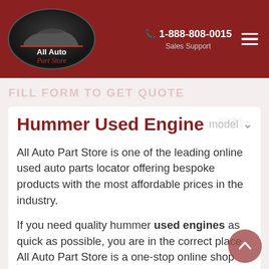All Auto Part Store | 1-888-808-0015 | Sales Support
FILL FORM TO GET QUOTE
Hummer Used Engine
All Auto Part Store is one of the leading online used auto parts locator offering bespoke products with the most affordable prices in the industry.
If you need quality hummer used engines as quick as possible, you are in the correct place. All Auto Part Store is a one-stop online shop where